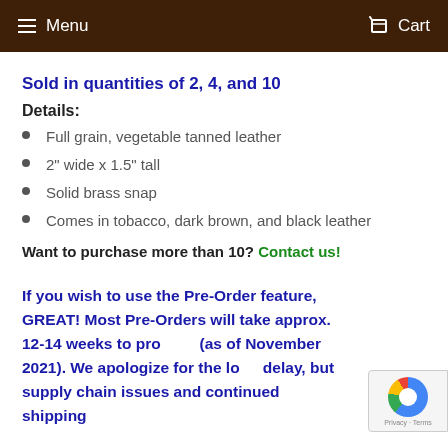Menu  Cart
Sold in quantities of 2, 4, and 10
Details:
Full grain, vegetable tanned leather
2" wide x 1.5" tall
Solid brass snap
Comes in tobacco, dark brown, and black leather
Want to purchase more than 10? Contact us!
If you wish to use the Pre-Order feature, GREAT! Most Pre-Orders will take approx. 12-14 weeks to process (as of November 2021). We apologize for the long delay, but supply chain issues and continued shipping